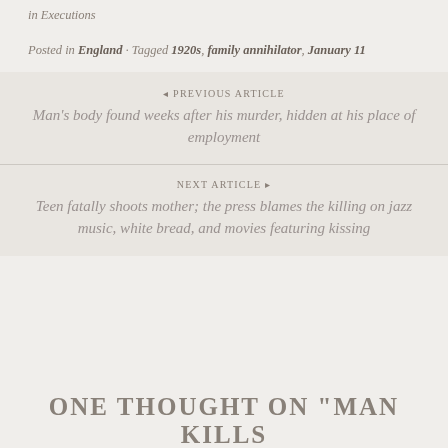in Executions
Posted in England · Tagged 1920s, family annihilator, January 11
◂ PREVIOUS ARTICLE
Man's body found weeks after his murder, hidden at his place of employment
NEXT ARTICLE ▸
Teen fatally shoots mother; the press blames the killing on jazz music, white bread, and movies featuring kissing
ONE THOUGHT ON "MAN KILLS